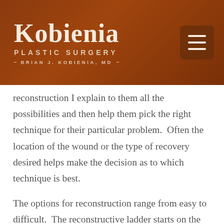Kobienia Plastic Surgery — Brian J. Kobienia, MD
reconstruction I explain to them all the possibilities and then help them pick the right technique for their particular problem.  Often the location of the wound or the type of recovery desired helps make the decision as to which technique is best.
The options for reconstruction range from easy to difficult.  The reconstructive ladder starts on the bottom rung.  The easiest treatment is to nothing surgically and let Mother Nature heal the wound.  The biggest advantage to this technique is that there is no need for surgery.  The healing process